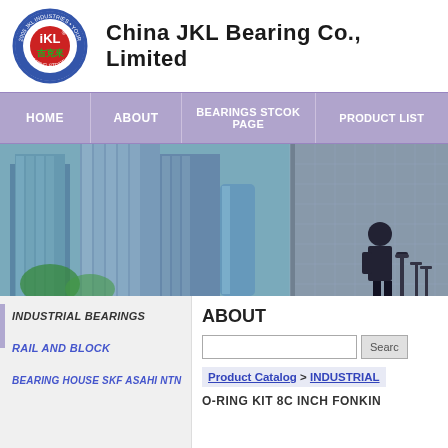[Figure (logo): iKL Industries circular logo with Chinese characters and red/blue design]
China JKL Bearing Co., Limited
HOME | ABOUT | BEARINGS STCOK PAGE | PRODUCT LIST
[Figure (photo): Hero image of skyscrapers viewed from below and a silhouette of a businessman]
INDUSTRIAL BEARINGS
RAIL AND BLOCK
BEARING HOUSE SKF ASAHI NTN
ABOUT
Product Catalog > INDUSTRIAL
O-RING KIT 8C INCH FONKIN